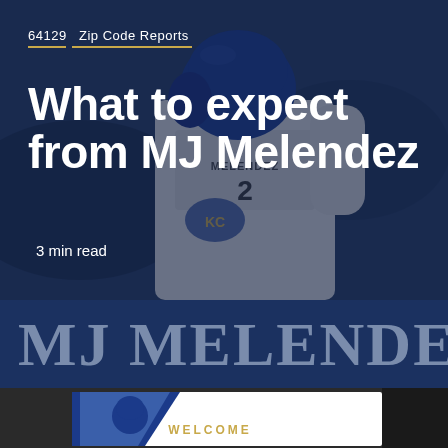64129  Zip Code Reports
What to expect from MJ Melendez
3 min read
[Figure (photo): Baseball player in Kansas City Royals uniform, seen from behind, wearing a blue helmet, looking upward. Dark overlay on image.]
[Figure (screenshot): Dark navy banner with large light text reading 'MJ MELENDEZ' (partially cropped on right)]
[Figure (photo): Bottom section showing a partial card with blue diagonal stripe and 'WELCOME' text, with a player in blue Royals cap visible. Yellow back-to-top button with chevron on the right.]